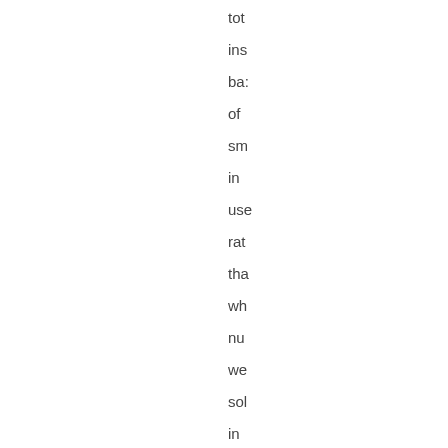tot
ins
ba:
of
sm
in
use
rat
tha
wh
nu
we
sol
in
the
pa:
qua